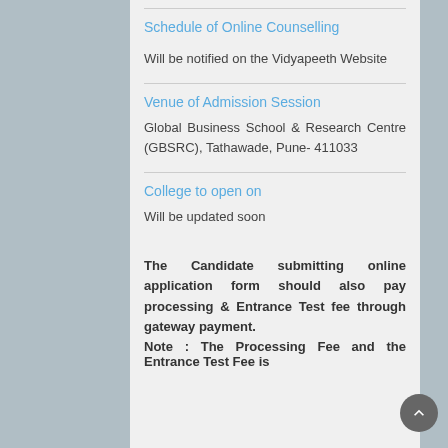Schedule of Online Counselling
Will be notified on the Vidyapeeth Website
Venue of Admission Session
Global Business School & Research Centre (GBSRC), Tathawade, Pune- 411033
College to open on
Will be updated soon
The Candidate submitting online application form should also pay processing & Entrance Test fee through gateway payment.
Note : The Processing Fee and the Entrance Test Fee is